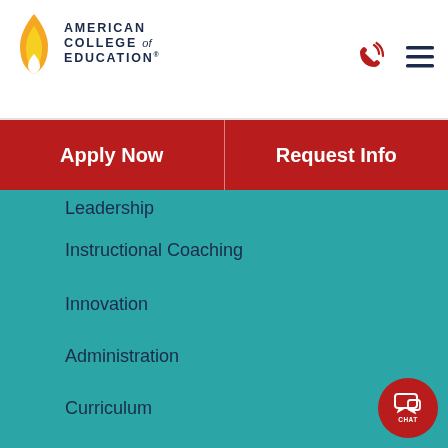[Figure (logo): American College of Education logo with flame icon and text]
Apply Now
Request Info
Leadership
Instructional Coaching
Innovation
Administration
Curriculum
Evaluations